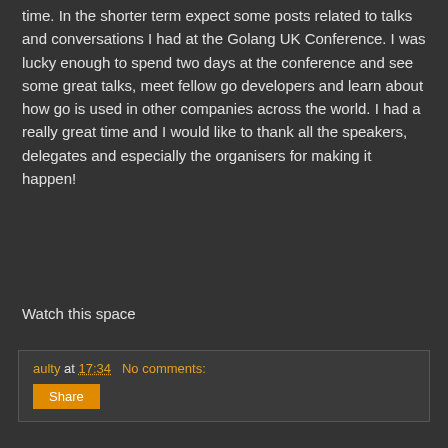time. In the shorter term expect some posts related to talks and conversations I had at the Golang UK Conference. I was lucky enough to spend two days at the conference and see some great talks, meet fellow go developers and learn about how go is used in other companies across the world. I had a really great time and I would like to thank all the speakers, delegates and especially the organisers for making it happen!
Watch this space
aulty at 17:34   No comments:
Share
‹
Home
›
View web version
Powered by Blogger.